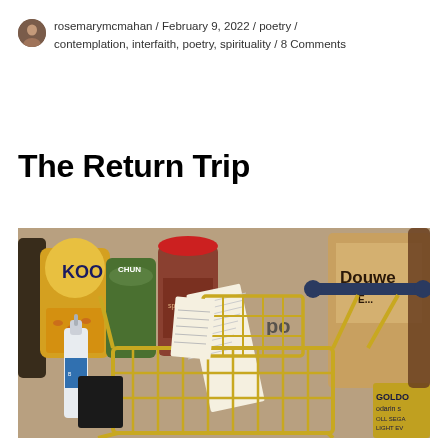rosemarymcmahan / February 9, 2022 / poetry / contemplation, interfaith, poetry, spirituality / 8 Comments
The Return Trip
[Figure (photo): A gold-colored miniature shopping cart in the foreground with grocery items in the background including KOO branded cans, a white dropper bottle, a receipt, and Douwe Egberts and other branded products.]